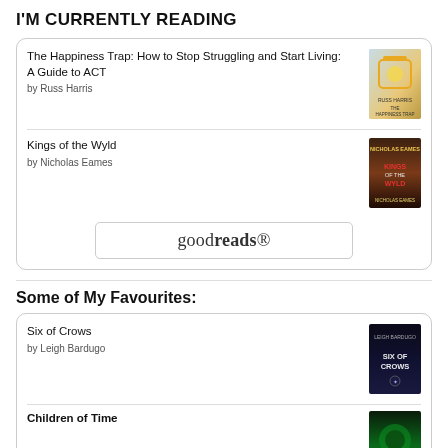I'M CURRENTLY READING
The Happiness Trap: How to Stop Struggling and Start Living: A Guide to ACT by Russ Harris
Kings of the Wyld by Nicholas Eames
[Figure (logo): goodreads logo button]
Some of My Favourites:
Six of Crows by Leigh Bardugo
Children of Time